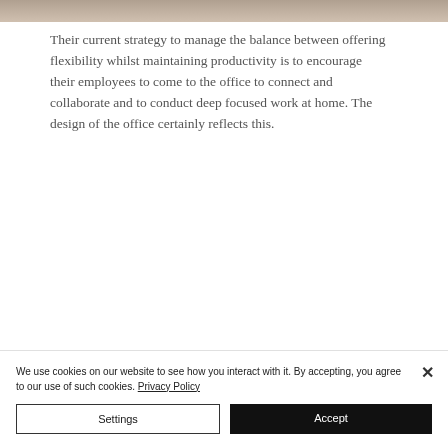[Figure (photo): Partial photo strip at the top of the page, showing a dark blurred image]
Their current strategy to manage the balance between offering flexibility whilst maintaining productivity is to encourage their employees to come to the office to connect and collaborate and to conduct deep focused work at home. The design of the office certainly reflects this.
We use cookies on our website to see how you interact with it. By accepting, you agree to our use of such cookies. Privacy Policy
Settings
Accept